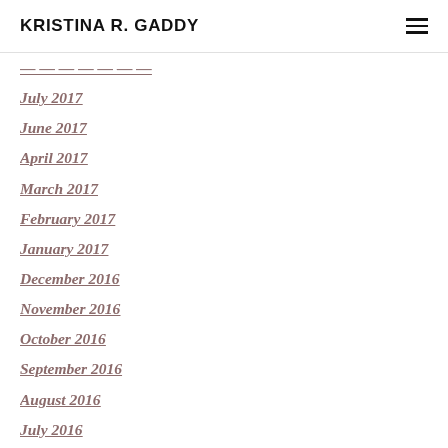KRISTINA R. GADDY
July 2017
June 2017
April 2017
March 2017
February 2017
January 2017
December 2016
November 2016
October 2016
September 2016
August 2016
July 2016
June 2016
May 2016
March 2016
February 2016